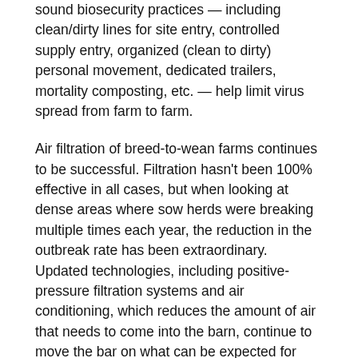sound biosecurity practices — including clean/dirty lines for site entry, controlled supply entry, organized (clean to dirty) personal movement, dedicated trailers, mortality composting, etc. — help limit virus spread from farm to farm.
Air filtration of breed-to-wean farms continues to be successful. Filtration hasn't been 100% effective in all cases, but when looking at dense areas where sow herds were breaking multiple times each year, the reduction in the outbreak rate has been extraordinary. Updated technologies, including positive-pressure filtration systems and air conditioning, which reduces the amount of air that needs to come into the barn, continue to move the bar on what can be expected for preventing virus introduction into these farms.
A PRRSv vaccine remains an important tool available to producers for virus control. Recent additions of modified live PRRS vaccines on the market give swine producers further options for vaccines.
In many commercial sow herds, especially those in more densely